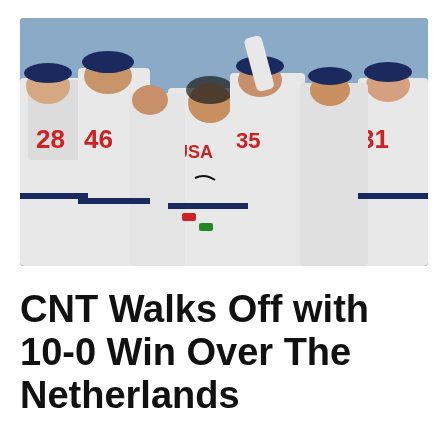[Figure (photo): Baseball players in white USA uniforms celebrating on a field. Several players with jersey numbers 28, 46, 35, 31 are visible from behind, surrounding a player in the center who is bowing his head while someone removes his batting helmet. The setting is a sunny outdoor baseball stadium.]
CNT Walks Off with 10-0 Win Over The Netherlands